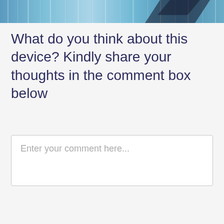[Figure (photo): Partial top banner image showing a device (appears to be a dark electronic device) against a blue digital/tech background with vertical light streaks]
What do you think about this device? Kindly share your thoughts in the comment box below
Enter your comment here...